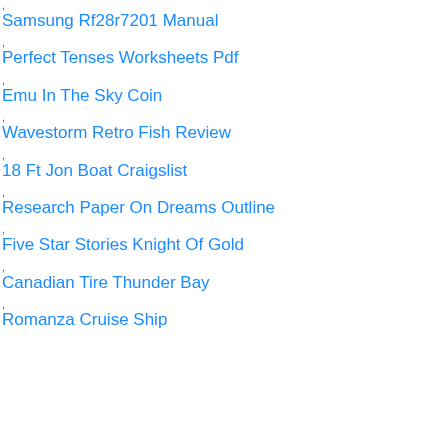, Samsung Rf28r7201 Manual
, Perfect Tenses Worksheets Pdf
, Emu In The Sky Coin
, Wavestorm Retro Fish Review
, 18 Ft Jon Boat Craigslist
, Research Paper On Dreams Outline
, Five Star Stories Knight Of Gold
, Canadian Tire Thunder Bay
, Romanza Cruise Ship